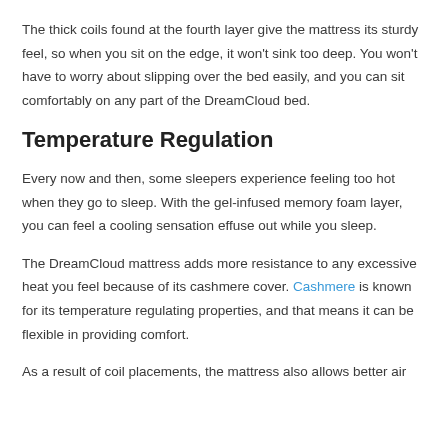The thick coils found at the fourth layer give the mattress its sturdy feel, so when you sit on the edge, it won't sink too deep. You won't have to worry about slipping over the bed easily, and you can sit comfortably on any part of the DreamCloud bed.
Temperature Regulation
Every now and then, some sleepers experience feeling too hot when they go to sleep. With the gel-infused memory foam layer, you can feel a cooling sensation effuse out while you sleep.
The DreamCloud mattress adds more resistance to any excessive heat you feel because of its cashmere cover. Cashmere is known for its temperature regulating properties, and that means it can be flexible in providing comfort.
As a result of coil placements, the mattress also allows better air